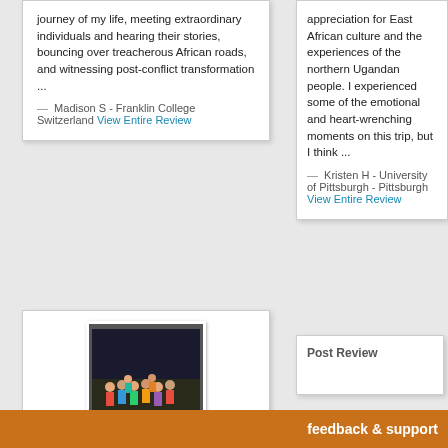journey of my life, meeting extraordinary individuals and hearing their stories, bouncing over treacherous African roads, and witnessing post-conflict transformation ...
— Madison S - Franklin College Switzerland View Entire Review
appreciation for East African culture and the experiences of the northern Ugandan people. I experienced some of the emotional and heart-wrenching moments on this trip, but I think ...
— Kristen H - University of Pittsburgh - Pittsburgh View Entire Review
[Figure (photo): Group photo of students at night, outdoor setting]
Post Review
feedback & support